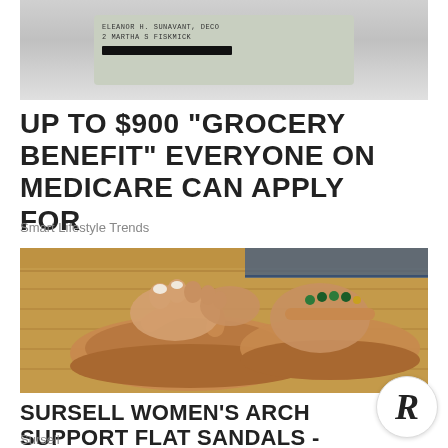[Figure (photo): Partially visible ID card or document with redacted personal information (black bar over name), against a light gray background]
UP TO $900 "GROCERY BENEFIT" EVERYONE ON MEDICARE CAN APPLY FOR
Smart Lifestyle Trends
[Figure (photo): Close-up photo of a woman's feet wearing tan/brown arch support flat sandals with toe separator, green bead anklet on right ankle, wooden floor background]
SURSELL WOMEN'S ARCH SUPPORT FLAT SANDALS - NOW 60% OFF!
Sursell